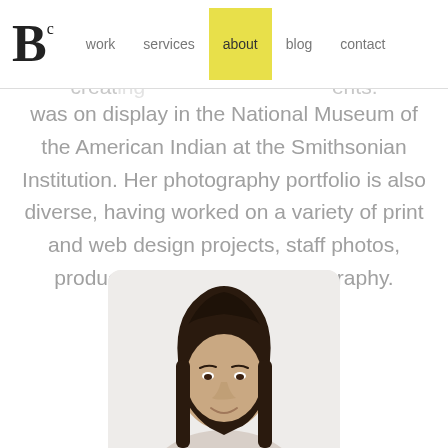Bc | work | services | about | blog | contact
was on display in the National Museum of the American Indian at the Smithsonian Institution. Her photography portfolio is also diverse, having worked on a variety of print and web design projects, staff photos, product and landscape photography.
[Figure (photo): Portrait photo of a woman with long dark hair, shown from shoulders up against a light background, in a rounded rectangle frame at the bottom of the page.]